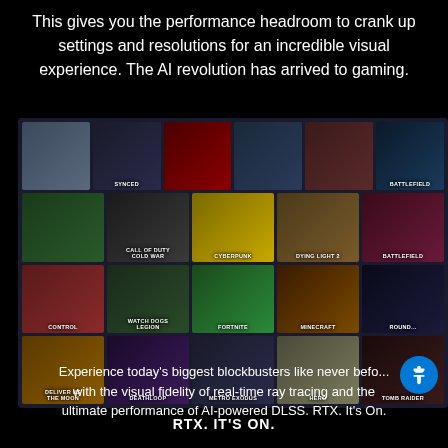This gives you the performance headroom to crank up settings and resolutions for an incredible visual experience. The AI revolution has arrived to gaming.
[Figure (illustration): A grid of video game cover art tiles displayed in a perspective/angled layout on a dark background, showing games including SYNCED, Battlefield, Call of Duty Cold War, Cyberpunk, Dying Light 2, Fortnite, Minecraft, Control, Watch Dogs Legion, Deliver Us The Moon, Deathloop, Metro Exodus, HERO, Tomb Raider, and others.]
RTX. IT'S ON.
Experience today's biggest blockbusters like never before with the visual fidelity of real-time ray tracing and the ultimate performance of AI-powered DLSS. RTX. It's On.